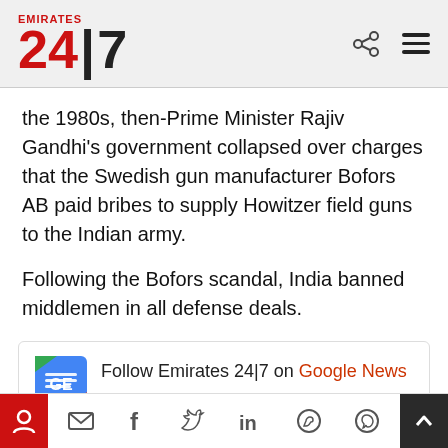Emirates 24|7
the 1980s, then-Prime Minister Rajiv Gandhi's government collapsed over charges that the Swedish gun manufacturer Bofors AB paid bribes to supply Howitzer field guns to the Indian army.
Following the Bofors scandal, India banned middlemen in all defense deals.
[Figure (logo): Google News follow box with GE icon: Follow Emirates 24|7 on Google News .]
Social share icons: share, mail, facebook, twitter, linkedin, whatsapp, pinterest. Scroll-to-top button.